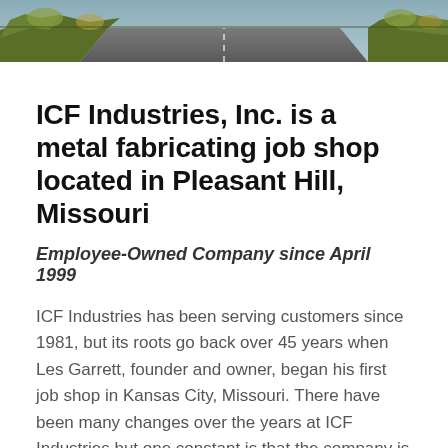[Figure (photo): Aerial or landscape photo strip showing a road and autumn trees/foliage in the background]
ICF Industries, Inc. is a metal fabricating job shop located in Pleasant Hill, Missouri
Employee-Owned Company since April 1999
ICF Industries has been serving customers since 1981, but its roots go back over 45 years when Les Garrett, founder and owner, began his first job shop in Kansas City, Missouri. There have been many changes over the years at ICF Industries but one constant is that the company is totally customer-driven. Whatever the customer wants is what we achieve. This formula has been proven over over again; ICF Industries has been doing business with